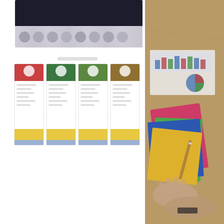[Figure (screenshot): Blurred document/presentation screenshot showing a dark header area with light icon row below, followed by a 4-column card grid with colored tops, white body with gray lines, yellow footer bands and blue accent strips. Right side shows a photo of hands on a wooden table with colorful stationery items (notebook, folders in pink, green, blue, yellow).]
[Figure (photo): Right panel photo showing someone's hands on a wooden table surface with colorful notebooks and folders stacked (pink, green, blue, yellow), with charts/graphs papers visible in upper right.]